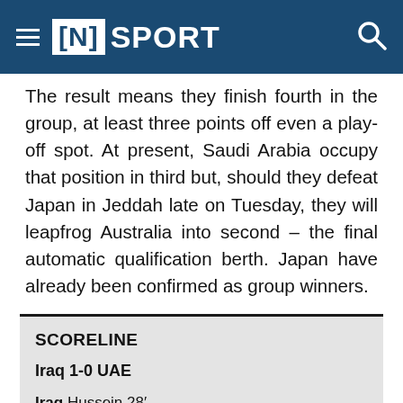[N] SPORT
The result means they finish fourth in the group, at least three points off even a play-off spot. At present, Saudi Arabia occupy that position in third but, should they defeat Japan in Jeddah late on Tuesday, they will leapfrog Australia into second – the final automatic qualification berth. Japan have already been confirmed as group winners.
| SCORELINE |
| --- |
| Iraq 1-0 UAE |
| Iraq Hussein 28′ |